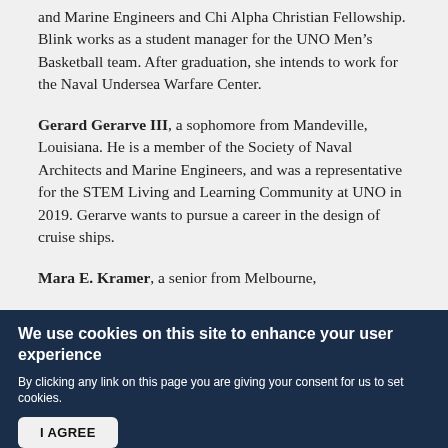and Marine Engineers and Chi Alpha Christian Fellowship. Blink works as a student manager for the UNO Men's Basketball team. After graduation, she intends to work for the Naval Undersea Warfare Center.
Gerard Gerarve III, a sophomore from Mandeville, Louisiana. He is a member of the Society of Naval Architects and Marine Engineers, and was a representative for the STEM Living and Learning Community at UNO in 2019. Gerarve wants to pursue a career in the design of cruise ships.
Mara E. Kramer, a senior from Melbourne,
We use cookies on this site to enhance your user experience
By clicking any link on this page you are giving your consent for us to set cookies.
I AGREE